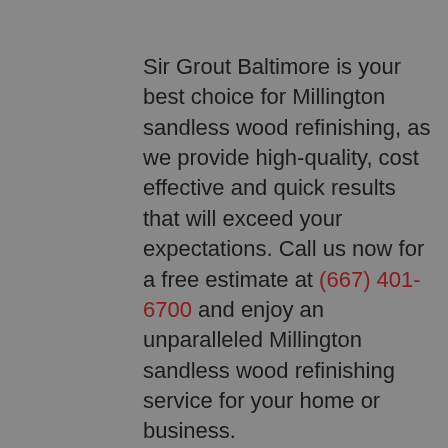Sir Grout Baltimore is your best choice for Millington sandless wood refinishing, as we provide high-quality, cost effective and quick results that will exceed your expectations. Call us now for a free estimate at (667) 401-6700 and enjoy an unparalleled Millington sandless wood refinishing service for your home or business.